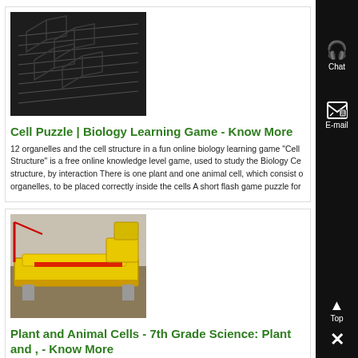[Figure (photo): Dark photo of stacked metal angle brackets or steel profiles]
Cell Puzzle | Biology Learning Game - Know More
12 organelles and the cell structure in a fun online biology learning game "Cell Structure" is a free online knowledge level game, used to study the Biology Ce structure, by interaction There is one plant and one animal cell, which consist o organelles, to be placed correctly inside the cells A short flash game puzzle for
[Figure (photo): Yellow industrial equipment, vibrating feeder or conveyor, outdoors]
Plant and Animal Cells - 7th Grade Science: Plant and , - Know More
11-12-2019· Plant and Animal Cells Plant vs Animal Cell Diagram Diagram of